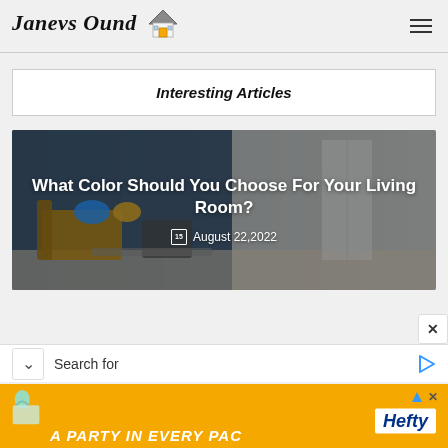Janevs Ound [house logo]
Interesting Articles
[Figure (photo): Article card with living room background image showing colorful sofas and chairs. Overlay text: 'What Color Should You Choose For Your Living Room?' dated August 22,2022]
[Figure (screenshot): Search bar UI overlay with chevron down, 'Search for' text, and play icon]
[Figure (photo): Hefty advertisement banner in orange with 'A PARTY in EVERY PACK' text and Hefty logo]